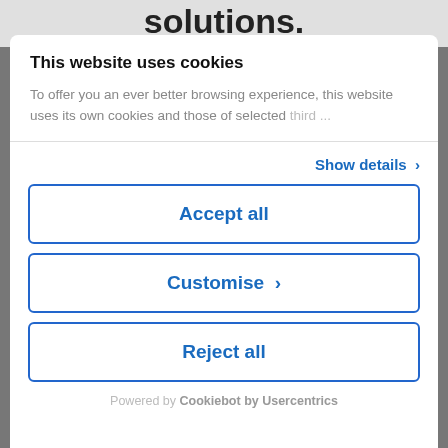solutions.
This website uses cookies
To offer you an ever better browsing experience, this website uses its own cookies and those of selected third...
Show details ›
Accept all
Customise ›
Reject all
Powered by Cookiebot by Usercentrics